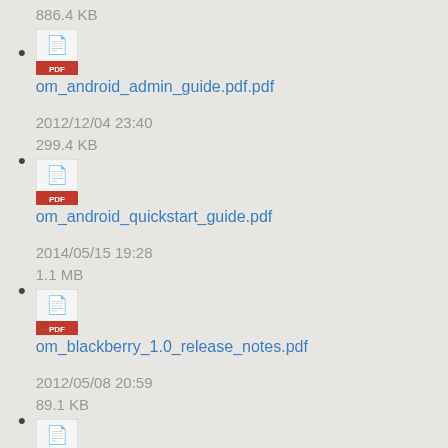886.4 KB
om_android_admin_guide.pdf.pdf
2012/12/04 23:40
299.4 KB
om_android_quickstart_guide.pdf
2014/05/15 19:28
1.1 MB
om_blackberry_1.0_release_notes.pdf
2012/05/08 20:59
89.1 KB
om_blackberry_1.0_user_guide.pdf